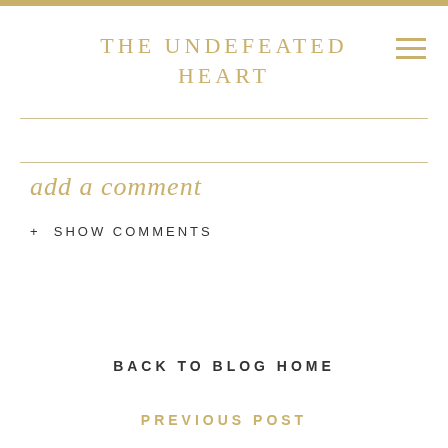THE UNDEFEATED HEART
add a comment
+ SHOW COMMENTS
BACK TO BLOG HOME
PREVIOUS POST